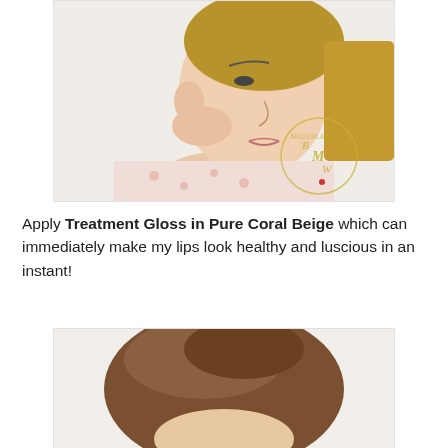[Figure (photo): A young Asian woman touching her ear, showing her face and neck profile, wearing a floral top. She has gold hoop earrings and light makeup. A watermark logo with stylized letters 'BM' or 'BW' in gold script is visible in the lower right of the photo.]
Apply Treatment Gloss in Pure Coral Beige which can immediately make my lips look healthy and luscious in an instant!
[Figure (photo): Top of a person's head showing brown hair, partially cropped at the bottom of the page.]